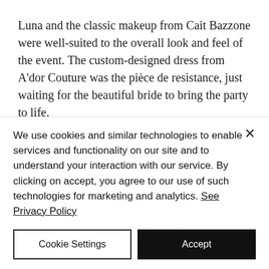Luna and the classic makeup from Cait Bazzone were well-suited to the overall look and feel of the event. The custom-designed dress from A'dor Couture was the pièce de resistance, just waiting for the beautiful bride to bring the party to life.
Overall, it was a beautiful day with beautiful details. Jacqueline was happy to bring her French culture in to the
We use cookies and similar technologies to enable services and functionality on our site and to understand your interaction with our service. By clicking on accept, you agree to our use of such technologies for marketing and analytics. See Privacy Policy